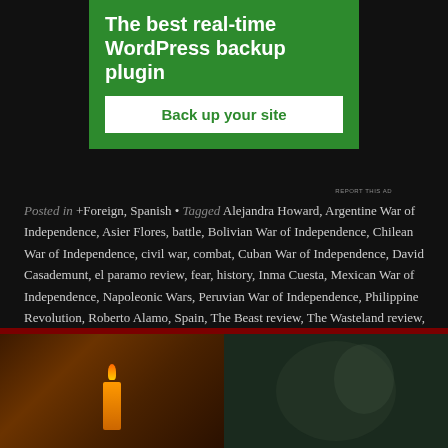[Figure (other): Green advertisement banner for WordPress backup plugin with white 'Back up your site' button]
REPORT THIS AD
Posted in +Foreign, Spanish • Tagged Alejandra Howard, Argentine War of Independence, Asier Flores, battle, Bolivian War of Independence, Chilean War of Independence, civil war, combat, Cuban War of Independence, David Casademunt, el paramo review, fear, history, Inma Cuesta, Mexican War of Independence, Napoleonic Wars, Peruvian War of Independence, Philippine Revolution, Roberto Alamo, Spain, The Beast review, The Wasteland review, Victor Benjumea, Venezuelan War of Independence, war • 3 Comments
[Figure (photo): Bottom section showing two dark images side by side: left shows a candle/bottle in warm tones, right shows a woman's face in dark green/teal tones]